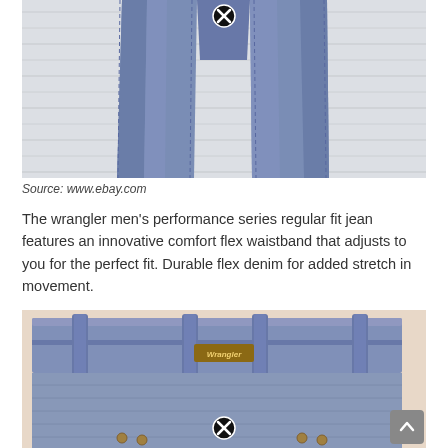[Figure (photo): Wrangler men's jeans laid flat on a white wood surface, front view showing both legs, with a close/X button overlay at top center]
Source: www.ebay.com
The wrangler men's performance series regular fit jean features an innovative comfort flex waistband that adjusts to you for the perfect fit. Durable flex denim for added stretch in movement.
[Figure (photo): Close-up of Wrangler jeans waistband and belt loops on a beige background, showing the Wrangler logo patch, with a close/X button overlay at bottom center]